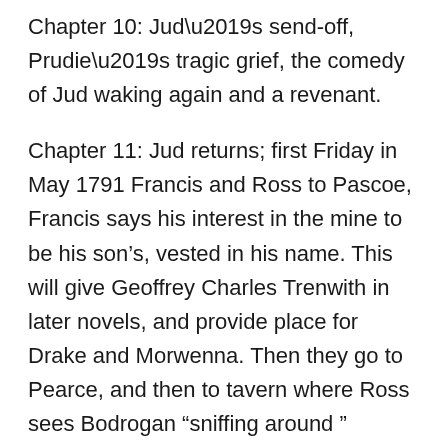Chapter 10: Jud’s send-off, Prudie’s tragic grief, the comedy of Jud waking again and a revenant.
Chapter 11: Jud returns; first Friday in May 1791 Francis and Ross to Pascoe, Francis says his interest in the mine to be his son’s, vested in his name. This will give Geoffrey Charles Trenwith in later novels, and provide place for Drake and Morwenna. Then they go to Pearce, and then to tavern where Ross sees Bodrogan “sniffing around ” Margaret instead of his “house like a mangy cat,.” This is chapter of “intense brawl” with George. Quarrel breaks out between them. Ross needles George that he, Ross, knows George is spying on them (little enough to get back) and “The sense of inferiority in the depths of George’s consciousness was one that Ross